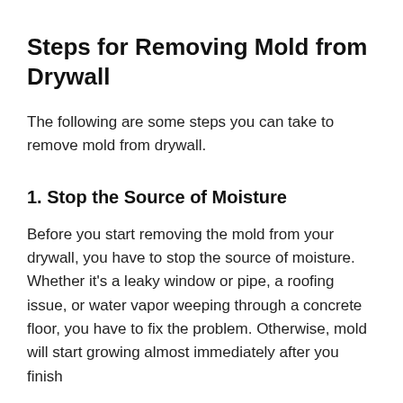Steps for Removing Mold from Drywall
The following are some steps you can take to remove mold from drywall.
1. Stop the Source of Moisture
Before you start removing the mold from your drywall, you have to stop the source of moisture. Whether it’s a leaky window or pipe, a roofing issue, or water vapor weeping through a concrete floor, you have to fix the problem. Otherwise, mold will start growing almost immediately after you finish